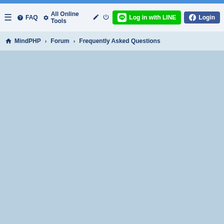≡  FAQ  All Online Tools  Log in with LINE  Login
🏠 MindPHP › Forum › Frequently Asked Questions